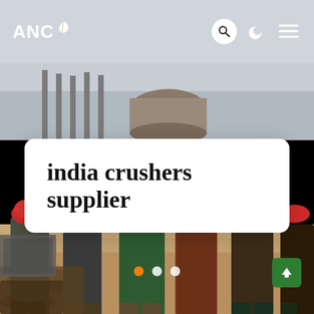[Figure (photo): Construction workers wearing hard hats (red and orange) standing in front of industrial machinery/crusher equipment on a construction site with sandy ground and concrete structure in background]
ANC
india crushers supplier